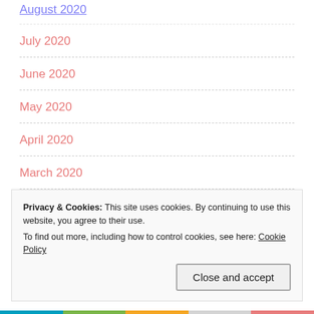August 2020
July 2020
June 2020
May 2020
April 2020
March 2020
February 2020
January 2020
Privacy & Cookies: This site uses cookies. By continuing to use this website, you agree to their use.
To find out more, including how to control cookies, see here: Cookie Policy
Close and accept